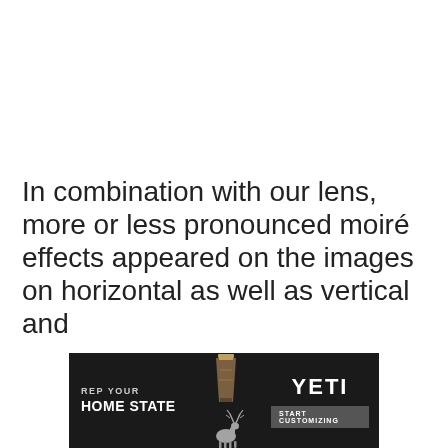In combination with our lens, more or less pronounced moiré effects appeared on the images on horizontal as well as vertical and
[Figure (other): Advertisement banner for YETI branded merchandise with text 'REP YOUR HOME STATE' and 'START CUSTOMIZING', featuring a tumbler cup and deer/elk silhouette graphic on dark background.]